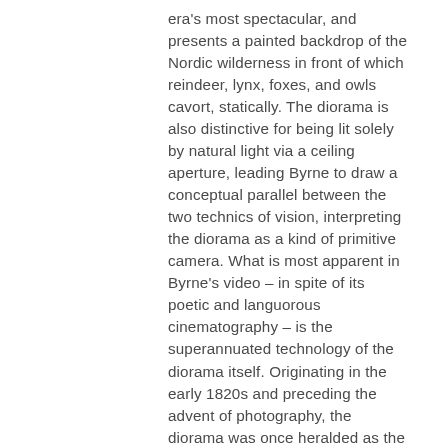era's most spectacular, and presents a painted backdrop of the Nordic wilderness in front of which reindeer, lynx, foxes, and owls cavort, statically. The diorama is also distinctive for being lit solely by natural light via a ceiling aperture, leading Byrne to draw a conceptual parallel between the two technics of vision, interpreting the diorama as a kind of primitive camera. What is most apparent in Byrne's video – in spite of its poetic and languorous cinematography – is the superannuated technology of the diorama itself. Originating in the early 1820s and preceding the advent of photography, the diorama was once heralded as the most sophisticated form of visual reproduction. Through a twenty-first-century gaze, however, this technology reads as outdated contrivance. Byrne's video is the touchstone of the exhibition in its suggestion that although all technologies of reproduction are fragile forms of artifice destined to obsolescence, each animates the world in precise and singular